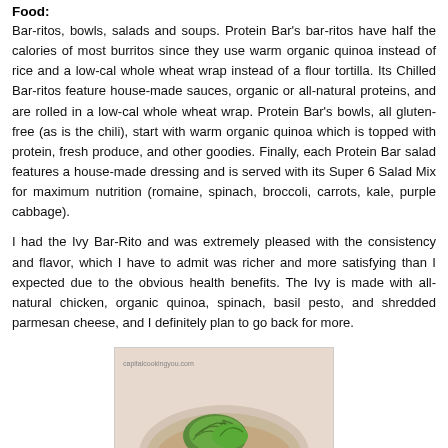Food:
Bar-ritos, bowls, salads and soups. Protein Bar's bar-ritos have half the calories of most burritos since they use warm organic quinoa instead of rice and a low-cal whole wheat wrap instead of a flour tortilla. Its Chilled Bar-ritos feature house-made sauces, organic or all-natural proteins, and are rolled in a low-cal whole wheat wrap. Protein Bar's bowls, all gluten-free (as is the chili), start with warm organic quinoa which is topped with protein, fresh produce, and other goodies. Finally, each Protein Bar salad features a house-made dressing and is served with its Super 6 Salad Mix for maximum nutrition (romaine, spinach, broccoli, carrots, kale, purple cabbage).
I had the Ivy Bar-Rito and was extremely pleased with the consistency and flavor, which I have to admit was richer and more satisfying than I expected due to the obvious health benefits. The Ivy is made with all-natural chicken, organic quinoa, spinach, basil pesto, and shredded parmesan cheese, and I definitely plan to go back for more.
[Figure (photo): Photo of a food bowl with greens and grains, labeled capitalcookingyou.com]